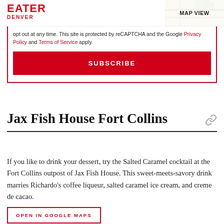EATER DENVER
opt out at any time. This site is protected by reCAPTCHA and the Google Privacy Policy and Terms of Service apply.
SUBSCRIBE
Jax Fish House Fort Collins
If you like to drink your dessert, try the Salted Caramel cocktail at the Fort Collins outpost of Jax Fish House. This sweet-meets-savory drink marries Richardo's coffee liqueur, salted caramel ice cream, and creme de cacao.
OPEN IN GOOGLE MAPS